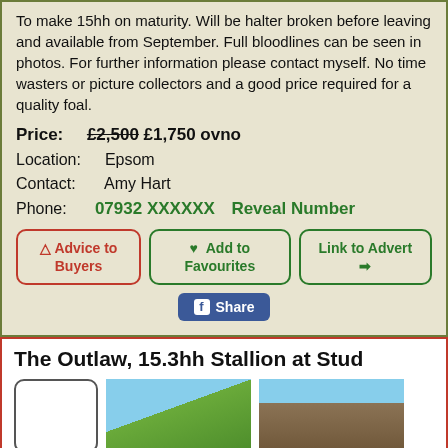To make 15hh on maturity. Will be halter broken before leaving and available from September. Full bloodlines can be seen in photos. For further information please contact myself. No time wasters or picture collectors and a good price required for a quality foal.
Price: £2,500 £1,750 ovno
Location: Epsom
Contact: Amy Hart
Phone: 07932 XXXXXX  Reveal Number
Advice to Buyers | Add to Favourites | Link to Advert
Share
The Outlaw, 15.3hh Stallion at Stud
[Figure (photo): Two horse photos side by side at bottom of listing]